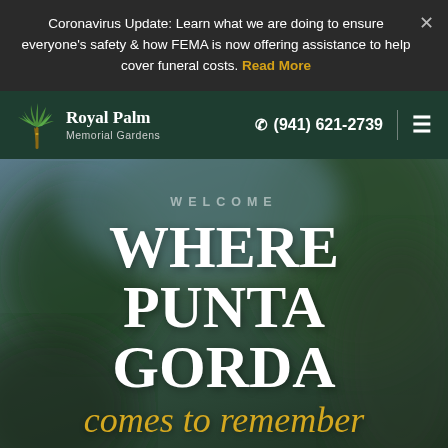Coronavirus Update: Learn what we are doing to ensure everyone's safety & how FEMA is now offering assistance to help cover funeral costs. Read More
[Figure (screenshot): Royal Palm Memorial Gardens navigation bar with palm tree logo, phone number (941) 621-2739 and hamburger menu icon]
WELCOME
WHERE PUNTA GORDA
comes to remember